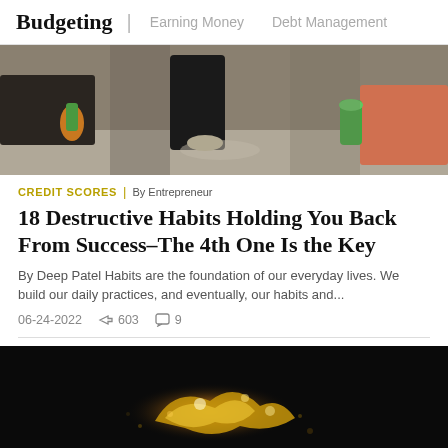Budgeting | Earning Money  Debt Management
[Figure (photo): People standing outdoors, holding green drinks, social gathering scene with dark clothing]
CREDIT SCORES | By Entrepreneur
18 Destructive Habits Holding You Back From Success–The 4th One Is the Key
By Deep Patel Habits are the foundation of our everyday lives. We build our daily practices, and eventually, our habits and...
06-24-2022  ↗ 603  💬 9
[Figure (photo): Close-up of a dark metallic or liquid golden object on black background]